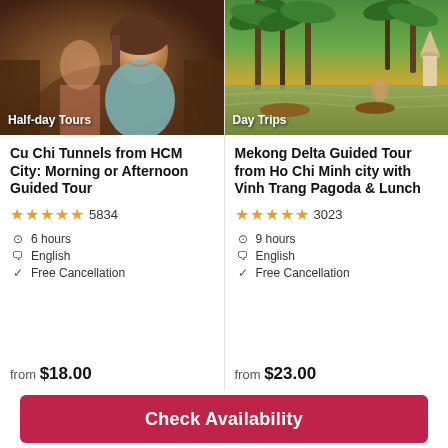[Figure (photo): Photo of tourist inside Cu Chi Tunnels, smiling woman in narrow earthen tunnel]
Half-day Tours
[Figure (photo): Photo of Mekong Delta river with boats and palm trees, person in traditional Vietnamese hat on boat]
Day Trips
Cu Chi Tunnels from HCM City: Morning or Afternoon Guided Tour
★★★★★ 5834
6 hours
English
Free Cancellation
from $18.00
Mekong Delta Guided Tour from Ho Chi Minh city with Vinh Trang Pagoda & Lunch
★★★★★ 3023
9 hours
English
Free Cancellation
from $23.00
Check Availability